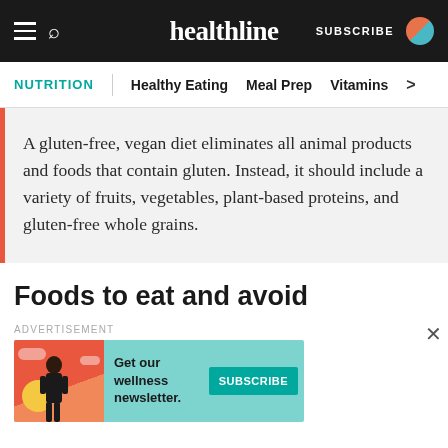healthline — SUBSCRIBE
NUTRITION | Healthy Eating   Meal Prep   Vitamins
A gluten-free, vegan diet eliminates all animal products and foods that contain gluten. Instead, it should include a variety of fruits, vegetables, plant-based proteins, and gluten-free whole grains.
Foods to eat and avoid
[Figure (infographic): Advertisement banner for healthline wellness newsletter subscription with illustrated woman and teal background. Reads: Get our wellness newsletter. SUBSCRIBE]
ADVERTISEMENT